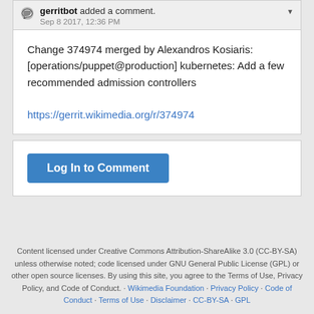gerritbot added a comment. Sep 8 2017, 12:36 PM
Change 374974 merged by Alexandros Kosiaris: [operations/puppet@production] kubernetes: Add a few recommended admission controllers
https://gerrit.wikimedia.org/r/374974
Log In to Comment
Content licensed under Creative Commons Attribution-ShareAlike 3.0 (CC-BY-SA) unless otherwise noted; code licensed under GNU General Public License (GPL) or other open source licenses. By using this site, you agree to the Terms of Use, Privacy Policy, and Code of Conduct. · Wikimedia Foundation · Privacy Policy · Code of Conduct · Terms of Use · Disclaimer · CC-BY-SA · GPL